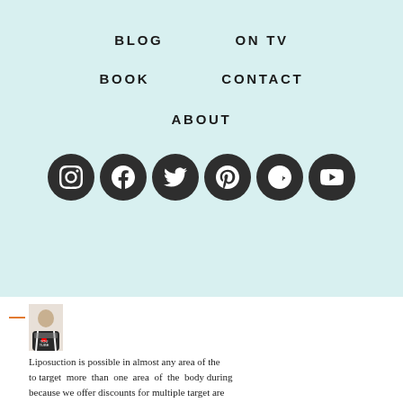BLOG
ON TV
BOOK
CONTACT
ABOUT
[Figure (infographic): Social media icon buttons row: Instagram, Facebook, Twitter, Pinterest, Google+, YouTube — dark circular icons]
Liposuction is possible in almost any area of the to target more than one area of the body durin because we offer discounts for multiple target are
Reply